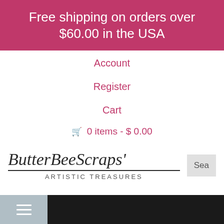Free shipping on orders over $60.00 in the USA
Account
Register
Cart
0 items - $ 0.00
[Figure (logo): ButterBeeScraps' Artistic Treasures logo with italic serif font and small caps subtitle, plus a search button labeled 'Sea']